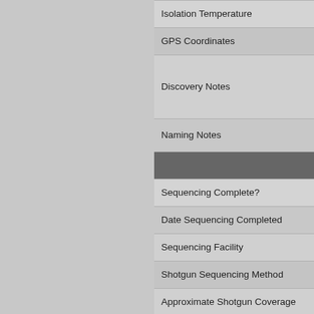| Field |
| --- |
| Isolation Temperature |
| GPS Coordinates |
| Discovery Notes |
| Naming Notes |
|  |
| Sequencing Complete? |
| Date Sequencing Completed |
| Sequencing Facility |
| Shotgun Sequencing Method |
| Approximate Shotgun Coverage |
| Genome length (bp) |
| Character of genome ends |
| Overhang Length |